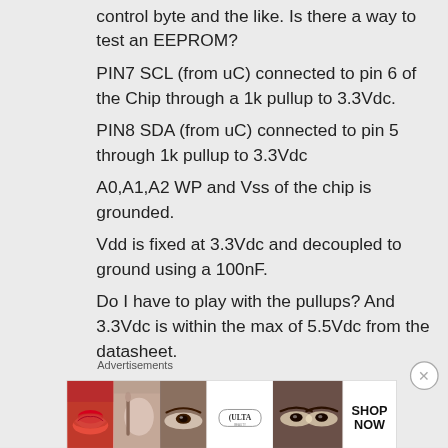control byte and the like. Is there a way to test an EEPROM?
PIN7 SCL (from uC) connected to pin 6 of the Chip through a 1k pullup to 3.3Vdc.
PIN8 SDA (from uC) connected to pin 5 through 1k pullup to 3.3Vdc
A0,A1,A2 WP and Vss of the chip is grounded.
Vdd is fixed at 3.3Vdc and decoupled to ground using a 100nF.
Do I have to play with the pullups? And 3.3Vdc is within the max of 5.5Vdc from the datasheet.
Advertisements
[Figure (photo): Ulta Beauty advertisement banner showing makeup/cosmetic images and 'SHOP NOW' call to action]
NEXT PAGE